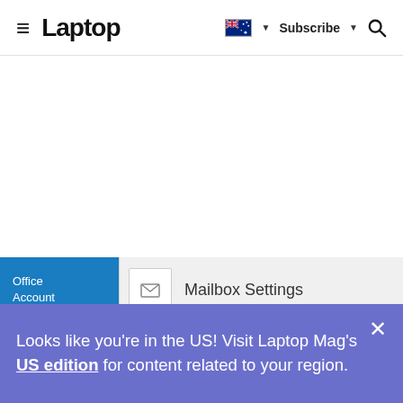≡ Laptop  [AU flag] ▼  Subscribe ▼  🔍
[Figure (screenshot): Screenshot showing Microsoft Office Account panel with blue sidebar and Mailbox Settings option]
Looks like you're in the US! Visit Laptop Mag's US edition for content related to your region.